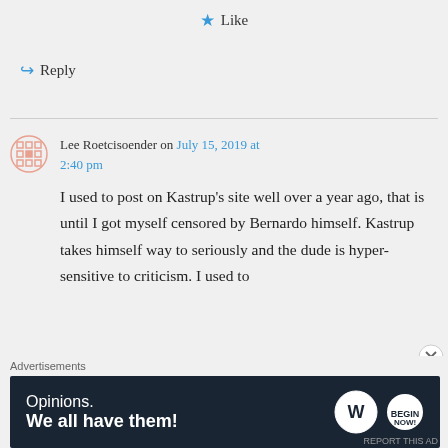★ Like
↪ Reply
Lee Roetcisoender on July 15, 2019 at 2:40 pm
I used to post on Kastrup's site well over a year ago, that is until I got myself censored by Bernardo himself. Kastrup takes himself way to seriously and the dude is hyper-sensitive to criticism. I used to
Advertisements
[Figure (infographic): WordPress advertisement banner: 'Opinions. We all have them!' with WordPress and another logo on dark navy background]